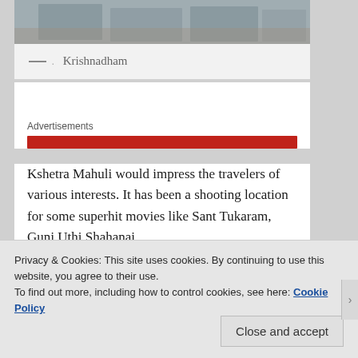[Figure (photo): Top portion of a photo showing stone/concrete architectural elements, partially cropped at the top of the page]
— . Krishnadham
Advertisements
Kshetra Mahuli would impress the travelers of various interests. It has been a shooting location for some superhit movies like Sant Tukaram, Gunj Uthi Shahanai
Privacy & Cookies: This site uses cookies. By continuing to use this website, you agree to their use.
To find out more, including how to control cookies, see here: Cookie Policy
Close and accept